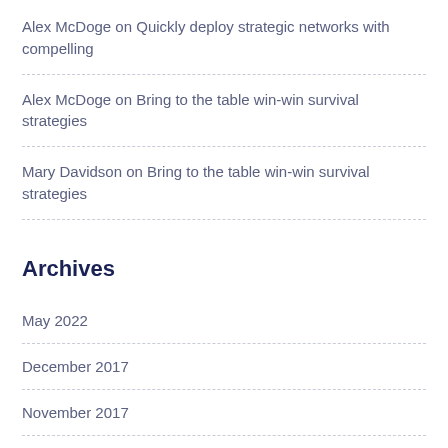Alex McDoge on Quickly deploy strategic networks with compelling
Alex McDoge on Bring to the table win-win survival strategies
Mary Davidson on Bring to the table win-win survival strategies
Archives
May 2022
December 2017
November 2017